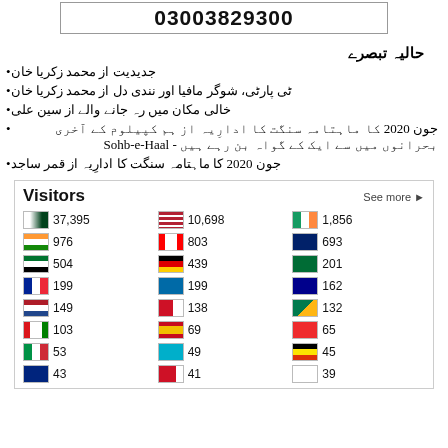03003829300
حالیہ تبصرے
جدیدیت از محمد زکریا خان
ٹی پارٹی، شوگر مافیا اور نندی دل از محمد زکریا خان
خالی مکان میں رہ جانے والے از سین علی
جون 2020 کا ماہتامہ سنگت کا ادارِیہ از ہم کپیلوم کے آخری بحرانوں میں سے ایک کے گواہ بن رہے ہیں - Sohb-e-Haal
جون 2020 کا ماہتامہ سنگت کا ادارِیہ از قمر ساجد
[Figure (infographic): Visitors widget showing country flags and visitor counts: Pakistan 37,395; USA 10,698; Ireland 1,856; India 976; Canada 803; UK 693; UAE 504; Germany 439; Saudi Arabia 201; France 199; Sweden 199; Australia 162; Netherlands 149; Bahrain 138; South Africa 132; Oman 103; Spain 69; Norway 65; Italy 53; Kazakhstan 49; Uganda 45; New Zealand 43; Bahrain 41; South Korea 39]